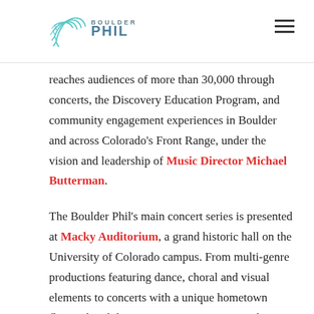BOULDER PHIL
reaches audiences of more than 30,000 through concerts, the Discovery Education Program, and community engagement experiences in Boulder and across Colorado's Front Range, under the vision and leadership of Music Director Michael Butterman.
The Boulder Phil's main concert series is presented at Macky Auditorium, a grand historic hall on the University of Colorado campus. From multi-genre productions featuring dance, choral and visual elements to concerts with a unique hometown flavor, the Phil's imaginative programming has resulted in increasing numbers of sold-out concerts, nationwide notice at the